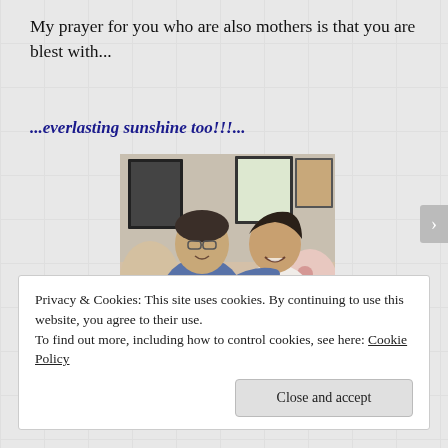My prayer for you who are also mothers is that you are blest with...
...everlasting sunshine too!!!...
[Figure (photo): Two women sitting on a couch smiling; an older woman in a blue jacket on the left and a younger woman in a white top on the right; framed pictures visible on the wall behind them]
Privacy & Cookies: This site uses cookies. By continuing to use this website, you agree to their use.
To find out more, including how to control cookies, see here: Cookie Policy
Close and accept